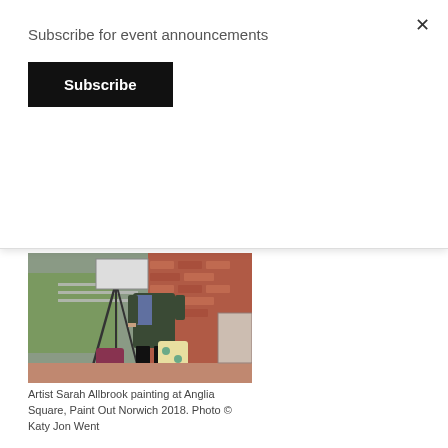Subscribe for event announcements
Subscribe
[Figure (photo): Artist Sarah Allbrook painting outdoors at Anglia Square, with a painting easel on a tripod, bags on the ground, wearing a dark jacket and boots, with brick wall in background.]
Artist Sarah Allbrook painting at Anglia Square, Paint Out Norwich 2018. Photo © Katy Jon Went
Sarah Allbrook studied for a Fine Art Painting degree at Norwich University of the Arts and have been painting landscapes around East Anglia since graduating in